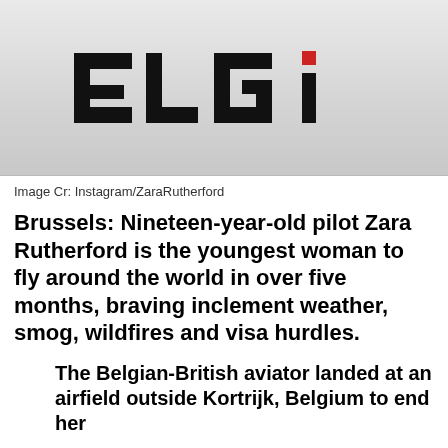[Figure (logo): ELGi logo in bold black block letters on a light grey background, with a small red square above the letter 'i']
Image Cr: Instagram/ZaraRutherford
Brussels: Nineteen-year-old pilot Zara Rutherford is the youngest woman to fly around the world in over five months, braving inclement weather, smog, wildfires and visa hurdles.
The Belgian-British aviator landed at an airfield outside Kortrijk, Belgium to end her